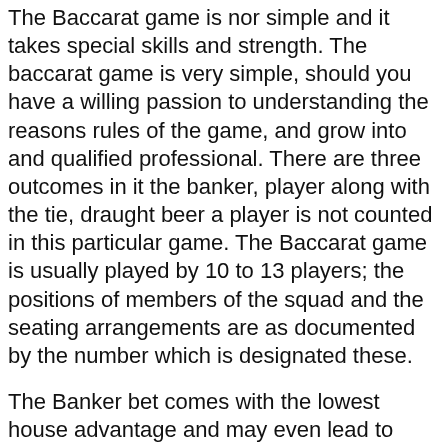The Baccarat game is nor simple and it takes special skills and strength. The baccarat game is very simple, should you have a willing passion to understanding the reasons rules of the game, and grow into and qualified professional. There are three outcomes in it the banker, player along with the tie, draught beer a player is not counted in this particular game. The Baccarat game is usually played by 10 to 13 players; the positions of members of the squad and the seating arrangements are as documented by the number which is designated these.
The Banker bet comes with the lowest house advantage and may even lead to your highest business earnings. The odds of a tie bet are very low, opt to banker and player bets instead. Don't bet on previous lines. Baccarat online is a game of